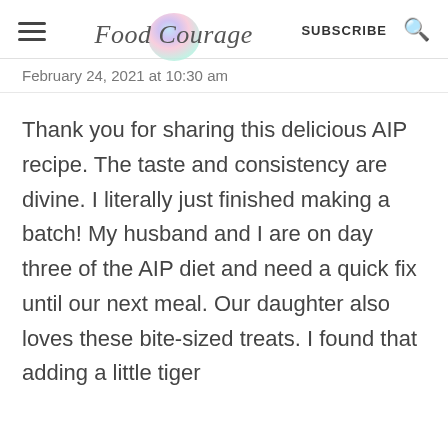Food Courage | SUBSCRIBE
February 24, 2021 at 10:30 am
Thank you for sharing this delicious AIP recipe. The taste and consistency are divine. I literally just finished making a batch! My husband and I are on day three of the AIP diet and need a quick fix until our next meal. Our daughter also loves these bite-sized treats. I found that adding a little tiger